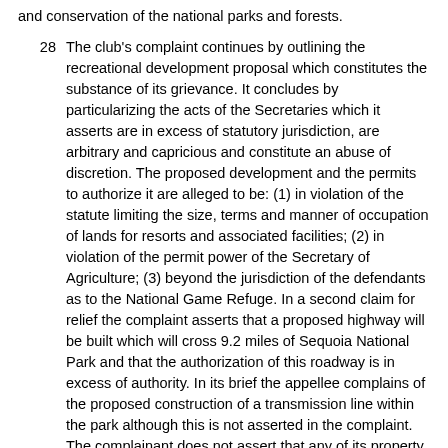and conservation of the national parks and forests.
28  The club's complaint continues by outlining the recreational development proposal which constitutes the substance of its grievance. It concludes by particularizing the acts of the Secretaries which it asserts are in excess of statutory jurisdiction, are arbitrary and capricious and constitute an abuse of discretion. The proposed development and the permits to authorize it are alleged to be: (1) in violation of the statute limiting the size, terms and manner of occupation of lands for resorts and associated facilities; (2) in violation of the permit power of the Secretary of Agriculture; (3) beyond the jurisdiction of the defendants as to the National Game Refuge. In a second claim for relief the complaint asserts that a proposed highway will be built which will cross 9.2 miles of Sequoia National Park and that the authorization of this roadway is in excess of authority. In its brief the appellee complains of the proposed construction of a transmission line within the park although this is not asserted in the complaint. The complainant does not assert that any of its property will be damaged, that its organization or members will be endangered or that its status will be threatened. Certainly it has an "interest" in the sense that the proposed course of action indicated by the Secretaries does not please its officers and board of directors and through them all or a substantial number of its